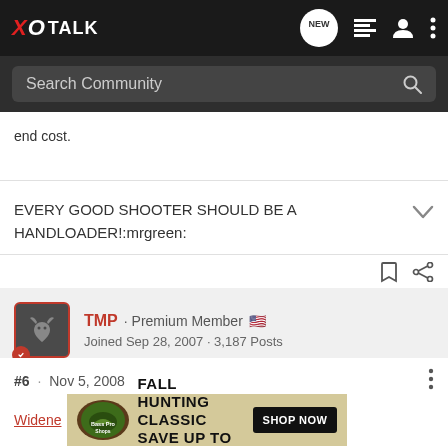XO TALK
end cost.
EVERY GOOD SHOOTER SHOULD BE A HANDLOADER!:mrgreen:
TMP · Premium Member
Joined Sep 28, 2007 · 3,187 Posts
#6 · Nov 5, 2008
Widene
[Figure (infographic): Bass Pro Shops Fall Hunting Classic advertisement - Save up to 30% with Shop Now button]